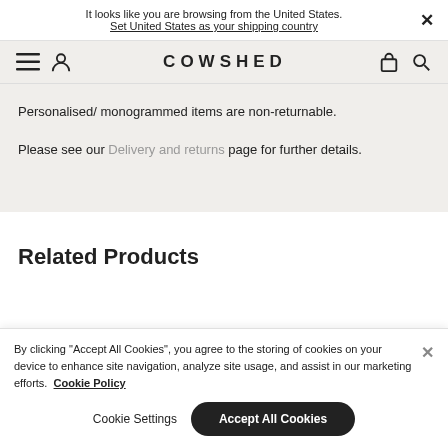It looks like you are browsing from the United States. Set United States as your shipping country
COWSHED
Personalised/ monogrammed items are non-returnable.
Please see our Delivery and returns page for further details.
Related Products
By clicking "Accept All Cookies", you agree to the storing of cookies on your device to enhance site navigation, analyze site usage, and assist in our marketing efforts. Cookie Policy
Cookie Settings
Accept All Cookies